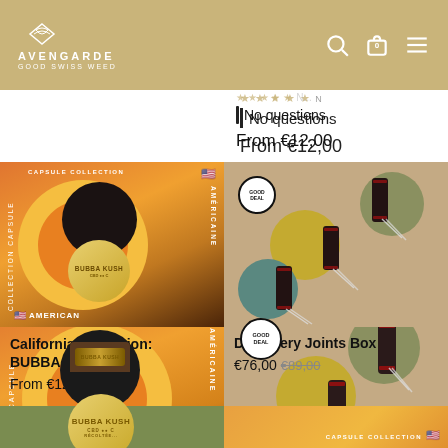AVENGARDE GOOD SWISS WEED
No questions
From €12,00
[Figure (photo): Californian selection Bubba Kush product jar with cannabis bud on top, orange/yellow circular background, CAPSULE COLLECTION label, American flag icon]
Californian selection: BUBBA KUSH
From €12,00
[Figure (photo): Discovery Joints Box product with three cylindrical containers on colored circles (olive, yellow, teal), GOOD DEAL badge]
Discovery Joints Box
€76,00  €89,00
[Figure (photo): Bottom partial: green capsule collection product image (left) and orange capsule collection product image with US flag (right)]